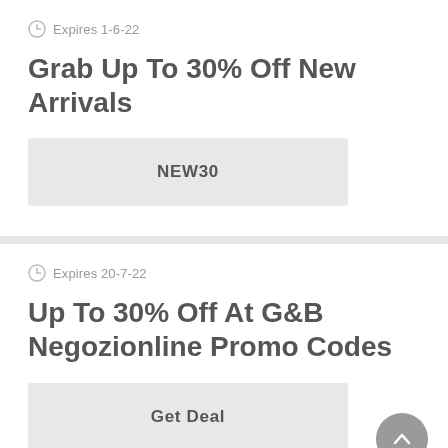Expires 1-6-22
Grab Up To 30% Off New Arrivals
NEW30
Expires 20-7-22
Up To 30% Off At G&B Negozionline Promo Codes
Get Deal